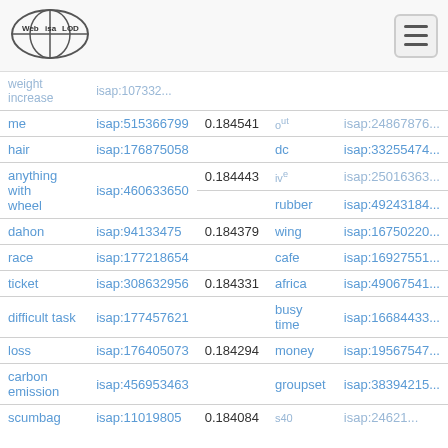[Figure (logo): Web isa LOD logo — oval globe with crosshairs and text]
| term | isap id | score | related term | related isap id |
| --- | --- | --- | --- | --- |
| weight increase | isap:107332... |  |  |  |
| me | isap:515366799 | 0.184541 | out | isap:24867876... |
| hair | isap:176875058 |  | dc | isap:33255474... |
| anything with wheel | isap:460633650 | 0.184443 | ive | isap:25016363... |
|  |  |  | rubber | isap:49243184... |
| dahon | isap:94133475 | 0.184379 | wing | isap:16750220... |
| race | isap:177218654 |  | cafe | isap:16927551... |
| ticket | isap:308632956 | 0.184331 | africa | isap:49067541... |
| difficult task | isap:177457621 |  | busy time | isap:16684433... |
| loss | isap:176405073 | 0.184294 | money | isap:19567547... |
| carbon emission | isap:456953463 |  | groupset | isap:38394215... |
| scumbag | isap:11019805 | 0.184084 | s40 | isap:24621... |